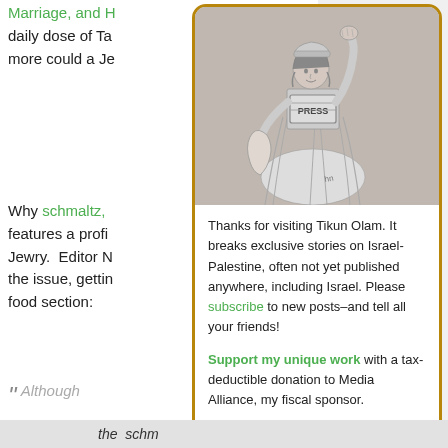Marriage, and H... daily dose of Ta... more could a Je...
Why schmaltz,... features a profi... Jewry. Editor N... the issue, gettin... food section:
[Figure (illustration): Illustration of a woman dressed in robes like the Statue of Liberty, wearing a PRESS vest and helmet, raising a fist, holding a shape resembling Palestine map. Drawn in pencil sketch style on grey background.]
Thanks for visiting Tikun Olam. It breaks exclusive stories on Israel-Palestine, often not yet published anywhere, including Israel. Please subscribe to new posts–and tell all your friends!
Support my unique work with a tax-deductible donation to Media Alliance, my fiscal sponsor.
" Although
Privacy & Cookies: ... website, you agree... To find out more, i... Policy
the schm...